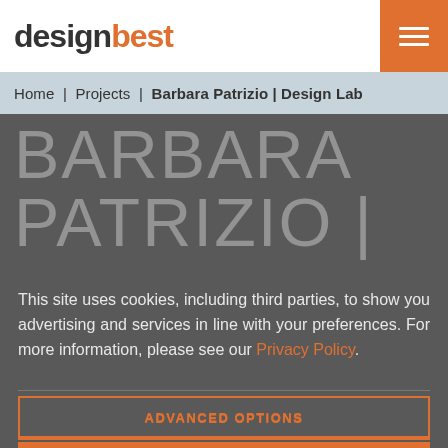designbest
Home | Projects | Barbara Patrizio | Design Lab
BARBARA PATRIZIO |
This site uses cookies, including third parties, to show you advertising and services in line with your preferences. For more information, please see our Privacy Policy.
ADVANCED OPTIONS
ACCEPT ALL